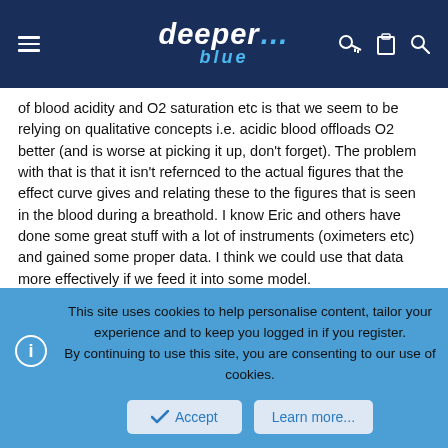deeper blue
of blood acidity and O2 saturation etc is that we seem to be relying on qualitative concepts i.e. acidic blood offloads O2 better (and is worse at picking it up, don't forget). The problem with that is that it isn't refernced to the actual figures that the effect curve gives and relating these to the figures that is seen in the blood during a breathold. I know Eric and others have done some great stuff with a lot of instruments (oximeters etc) and gained some proper data. I think we could use that data more effectively if we feed it into some model.
I think this idea of Eric's is great, but I'm still not convinced that we are applying the concept correctly to human physiology. A spot of modelling might go nicely here. I don't have time to do it at present, but may well do so in a week or two. I think we could have much to gain.
Eric - I'll email you to discuss models etc.
This site uses cookies to help personalise content, tailor your experience and to keep you logged in if you register.
By continuing to use this site, you are consenting to our use of cookies.